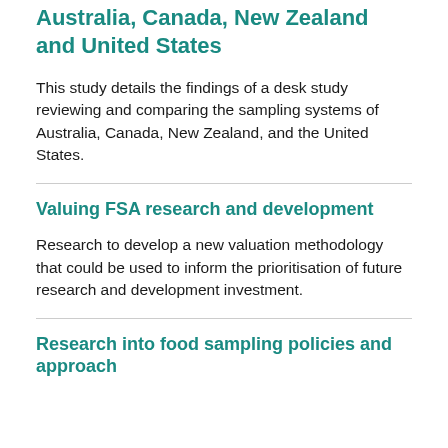Australia, Canada, New Zealand and United States
This study details the findings of a desk study reviewing and comparing the sampling systems of Australia, Canada, New Zealand, and the United States.
Valuing FSA research and development
Research to develop a new valuation methodology that could be used to inform the prioritisation of future research and development investment.
Research into food sampling policies and approach